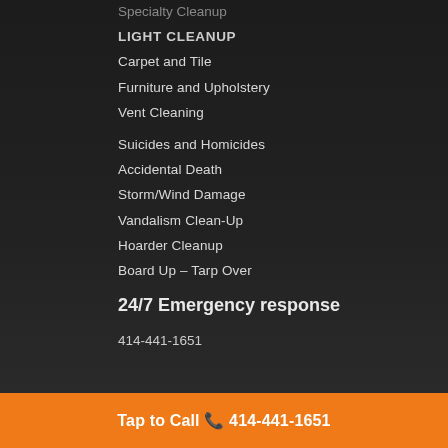Specialty Cleanup
LIGHT CLEANUP
Carpet and Tile
Furniture and Upholstery
Vent Cleaning
Suicides and Homicides
Accidental Death
Storm/Wind Damage
Vandalism Clean-Up
Hoarder Cleanup
Board Up – Tarp Over
24/7 Emergency response
414-441-1651
Tap to Call 📞 414-441-1651